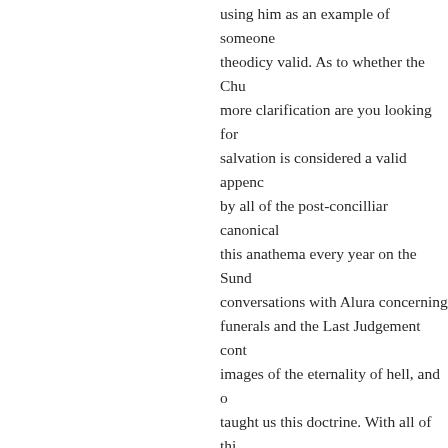using him as an example of someone theodicy valid. As to whether the Chu more clarification are you looking for salvation is considered a valid appenc by all of the post-concilliar canonical this anathema every year on the Sund conversations with Alura concerning funerals and the Last Judgement cont images of the eternality of hell, and o taught us this doctrine. With all of thi already addressed this issue at length, further discussion aboout it. The only misinformed clergy and laity.
2.) You ask for patristic support of the perfect knowledge, I can do you one b
“**You were the seal of perfection, fu beauty.** You were in Eden, the gard